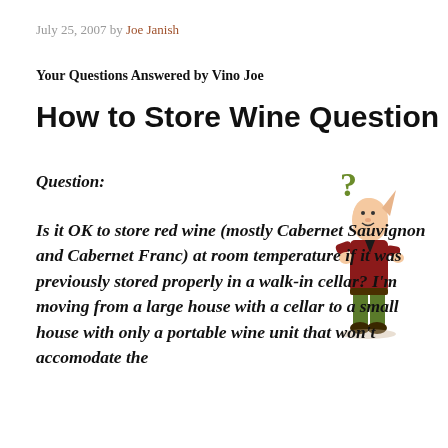July 25, 2007 by Joe Janish
Your Questions Answered by Vino Joe
How to Store Wine Question
Question:
[Figure (illustration): Cartoon illustration of a small man in a red jacket and green pants looking up at a question mark, with one hand raised near his chin in a contemplative pose.]
Is it OK to store red wine (mostly Cabernet Sauvignon and Cabernet Franc) at room temperature if it was previously stored properly in a walk-in cellar? I'm moving from a large house with a cellar to a small house with only a portable wine unit that won't accomodate the